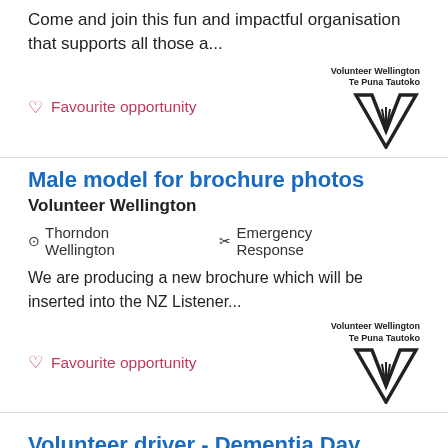Come and join this fun and impactful organisation that supports all those a...
♡ Favourite opportunity
[Figure (logo): Volunteer Wellington Te Puna Tautoko logo with stylized V/hand graphic]
Male model for brochure photos
Volunteer Wellington
📍 Thorndon Wellington    🎗 Emergency Response
We are producing a new brochure which will be inserted into the NZ Listener...
♡ Favourite opportunity
[Figure (logo): Volunteer Wellington Te Puna Tautoko logo with stylized V/hand graphic]
Volunteer driver - Dementia Day Service
Volunteer Wellington